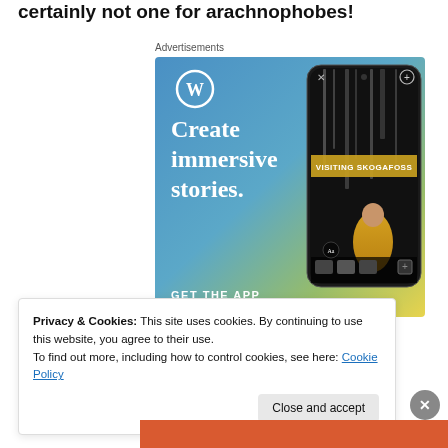certainly not one for arachnophobes!
Advertisements
[Figure (screenshot): WordPress advertisement showing 'Create immersive stories. GET THE APP' with a phone mockup displaying 'VISITING SKOGAFOSS' waterfall scene, on a blue-to-yellow gradient background with WordPress logo.]
Privacy & Cookies: This site uses cookies. By continuing to use this website, you agree to their use.
To find out more, including how to control cookies, see here: Cookie Policy
Close and accept